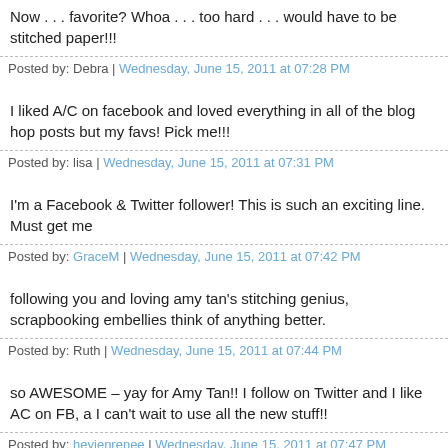Now . . . favorite? Whoa . . . too hard . . . would have to be stitched paper!!!
Posted by: Debra | Wednesday, June 15, 2011 at 07:28 PM
I liked A/C on facebook and loved everything in all of the blog hop posts but my favs! Pick me!!!
Posted by: lisa | Wednesday, June 15, 2011 at 07:31 PM
I'm a Facebook & Twitter follower! This is such an exciting line. Must get me
Posted by: GraceM | Wednesday, June 15, 2011 at 07:42 PM
following you and loving amy tan's stitching genius, scrapbooking embellies think of anything better.
Posted by: Ruth | Wednesday, June 15, 2011 at 07:44 PM
so AWESOME – yay for Amy Tan!! I follow on Twitter and I like AC on FB, a I can't wait to use all the new stuff!!
Posted by: heyjenrenee | Wednesday, June 15, 2011 at 07:47 PM